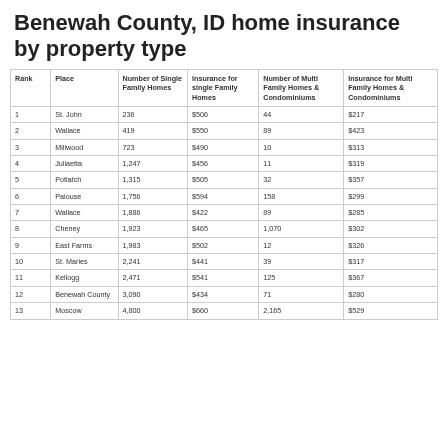Benewah County, ID home insurance by property type
| Rank | Place | Number of Single Family Homes | Insurance for single Family Homes | Number of Multi Family Homes & Condominiums | Insurance for Multi Family Homes & Condominiums |
| --- | --- | --- | --- | --- | --- |
| 1 | St. John | 236 | $506 | 44 | $217 |
| 2 | Wallace | 419 | $550 | 89 | $423 |
| 3 | Millwood | 723 | $490 | 10 | $313 |
| 4 | Juliaetta | 1,247 | $456 | 11 | $319 |
| 5 | Potlatch | 1,315 | $505 | 32 | $357 |
| 6 | Palouse | 1,756 | $594 | 158 | $299 |
| 7 | Wallace | 1,886 | $422 | 89 | $285 |
| 8 | Cheney | 1,923 | $465 | 1,070 | $302 |
| 9 | East Farms | 1,983 | $502 | 12 | $326 |
| 10 | St. Maries | 2,241 | $441 | 39 | $317 |
| 11 | Kellogg | 2,471 | $541 | 125 | $367 |
| 12 | Benewah County | 3,090 | $434 | 71 | $280 |
| 13 | Moscow | 4,800 | $660 | 2,165 | $529 |